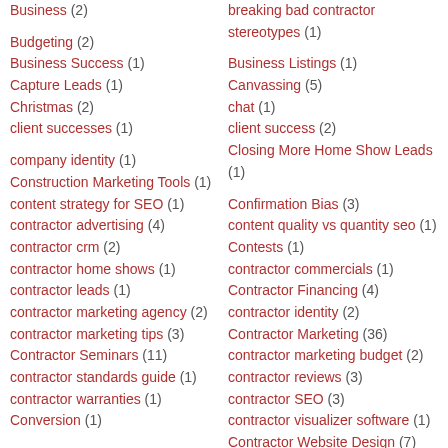Business (2)
breaking bad contractor stereotypes (1)
Budgeting (2)
Business Listings (1)
Business Success (1)
Canvassing (5)
Capture Leads (1)
chat (1)
Christmas (2)
client success (2)
client successes (1)
Closing More Home Show Leads (1)
company identity (1)
Confirmation Bias (3)
Construction Marketing Tools (1)
content quality vs quantity seo (1)
content strategy for SEO (1)
Contests (1)
contractor advertising (4)
contractor commercials (1)
contractor crm (2)
Contractor Financing (4)
contractor home shows (1)
contractor identity (2)
contractor leads (1)
Contractor Marketing (36)
contractor marketing agency (2)
contractor marketing budget (2)
contractor marketing tips (3)
contractor reviews (3)
Contractor Seminars (11)
contractor SEO (3)
contractor standards guide (1)
contractor visualizer software (1)
contractor warranties (1)
Contractor Website Design (7)
Conversion (1)
Conversionability (3)